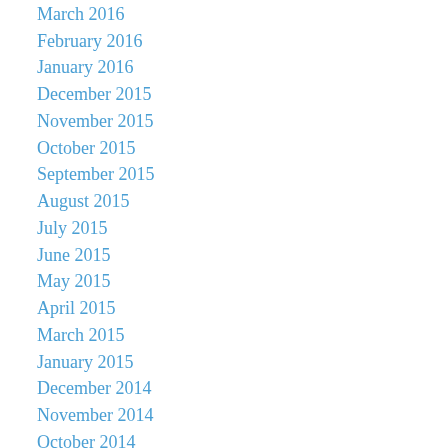March 2016
February 2016
January 2016
December 2015
November 2015
October 2015
September 2015
August 2015
July 2015
June 2015
May 2015
April 2015
March 2015
January 2015
December 2014
November 2014
October 2014
September 2014
August 2014
July 2014